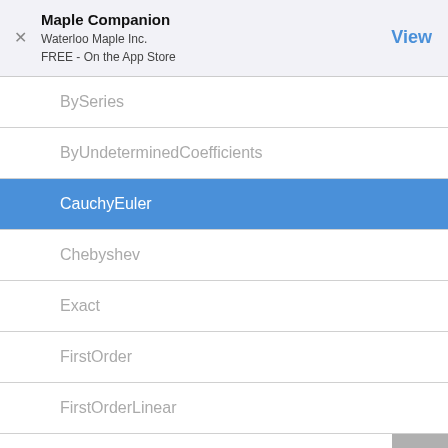Maple Companion
Waterloo Maple Inc.
FREE - On the App Store
BySeries
ByUndeterminedCoefficients
CauchyEuler
Chebyshev
Exact
FirstOrder
FirstOrderLinear
HighOrder
LinearConstantCoefficients